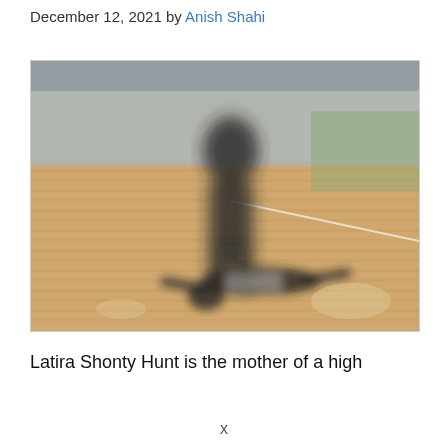December 12, 2021 by Anish Shahi
[Figure (photo): Blurred photo of a basketball gym court showing one person standing over another person lying on the wooden floor. The image is intentionally blurred/obscured for content moderation.]
Latira Shonty Hunt is the mother of a high